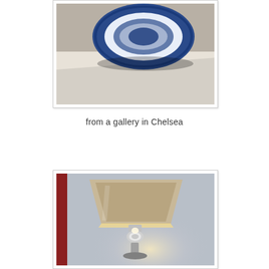[Figure (photo): A blue and white decorative plate resting on a white shelf or furniture surface, photographed from above at an angle.]
from a gallery in Chelsea
[Figure (photo): A lamp with a beige/tan fabric lampshade and a metallic chrome base, glowing with warm light against a light blue/grey wall background. A red element is partially visible on the left edge.]